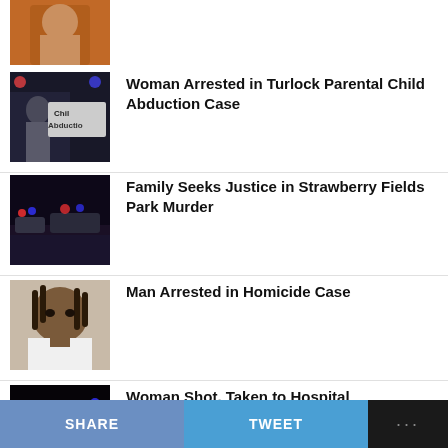[Figure (photo): Partial mugshot of man in orange jumpsuit, top of page]
[Figure (photo): Child abduction news graphic with text 'Child Abduction' and police light background]
Woman Arrested in Turlock Parental Child Abduction Case
[Figure (photo): Night scene with police cars and flashing lights on a street]
Family Seeks Justice in Strawberry Fields Park Murder
[Figure (photo): Mugshot of a Black man with dreadlocks in white shirt]
Man Arrested in Homicide Case
[Figure (photo): Night scene with police cars, dark street]
Woman Shot, Taken to Hospital
SHARE   TWEET   ...